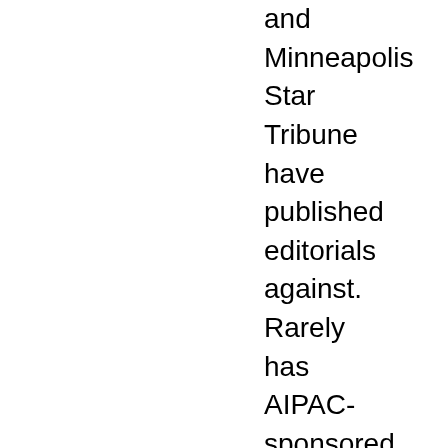and Minneapolis Star Tribune have published editorials against. Rarely has AIPAC-sponsored legislation taken such a battering from the US press.

A New York Times editorial on
A New York Times editorial on